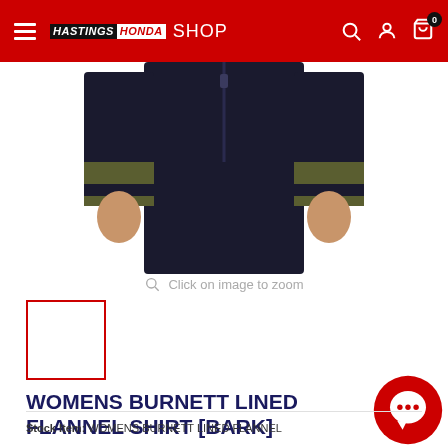HASTINGS HONDA SHOP
[Figure (photo): Partial view of a person wearing a flannel shirt with dark olive/black plaid pattern, showing torso and arms, against white background]
Click on image to zoom
[Figure (photo): Small thumbnail image of the flannel shirt product, currently selected (red border)]
WOMENS BURNETT LINED FLANNEL SHIRT [BARK]
Stock Item: WOMENS BURNETT LINED FLANNEL